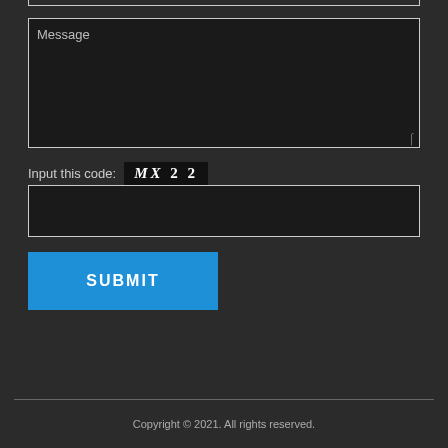[Figure (screenshot): A dark-themed web contact form showing a Message textarea with placeholder text, a CAPTCHA code input labeled 'Input this code: MX 2 2', a code entry text field, and a blue SUBMIT button.]
Input this code: MX 2 2
SUBMIT
Copyright © 2021. All rights reserved.